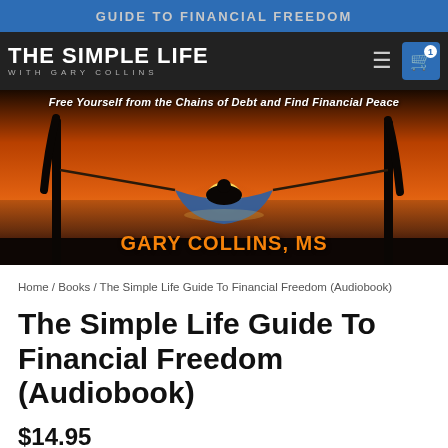[Figure (screenshot): Website header for 'The Simple Life with Gary Collins' showing a book cover for 'The Simple Life Guide To Financial Freedom' audiobook. Features a blue top bar with 'GUIDE TO FINANCIAL FREEDOM', a dark navigation bar with logo and cart icon, and a book cover image showing a person in a hammock at sunset with the subtitle 'Free Yourself from the Chains of Debt and Find Financial Peace' and author name 'GARY COLLINS, MS' in orange.]
Home / Books / The Simple Life Guide To Financial Freedom (Audiobook)
The Simple Life Guide To Financial Freedom (Audiobook)
$14.95